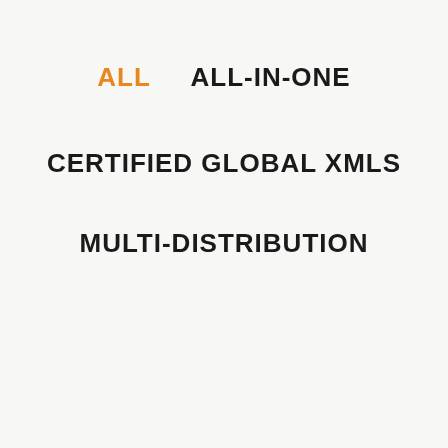ALL   ALL-IN-ONE
CERTIFIED GLOBAL XMLS
MULTI-DISTRIBUTION